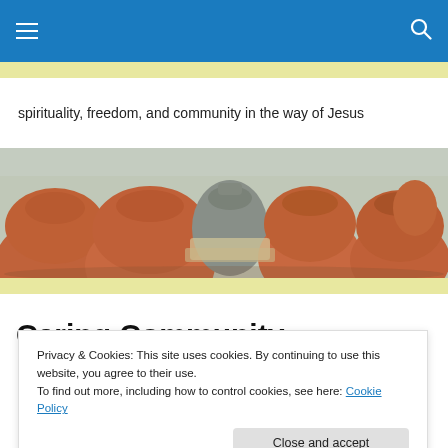Navigation bar with hamburger menu and search icon
spirituality, freedom, and community in the way of Jesus
[Figure (photo): Collection of terracotta clay pots and pottery in various sizes and shapes, some grey unfired, mostly terracotta brown, arranged outdoors.]
Caring Community
Privacy & Cookies: This site uses cookies. By continuing to use this website, you agree to their use.
To find out more, including how to control cookies, see here: Cookie Policy
Close and accept